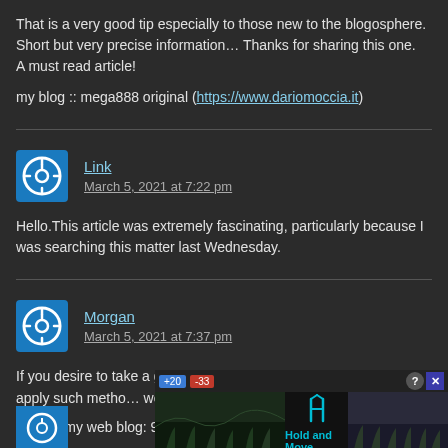That is a very good tip especially to those new to the blogosphere. Short but very precise information… Thanks for sharing this one. A must read article!
my blog :: mega888 original (https://www.dariomoccia.it)
Link
March 5, 2021 at 7:22 pm
Hello.This article was extremely fascinating, particularly because I was searching this matter last Wednesday.
Morgan
March 5, 2021 at 7:37 pm
If you desire to take a great deal from this post then you have to apply such metho… webpage.
Here is my web blog: 918kaya android [Morgan]
[Figure (screenshot): Advertisement banner showing Hold and Move app with +20 -33 badges, forest/nature imagery on left and right, and a person icon in the center with 'Hold and Move' text]